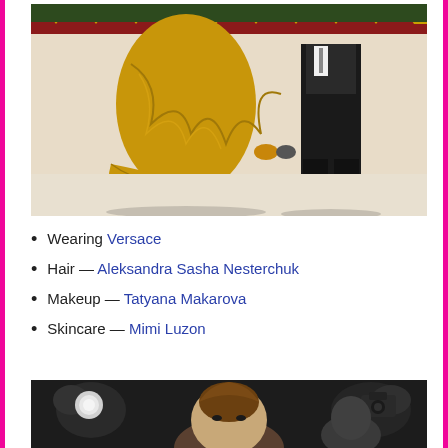[Figure (photo): Woman in a long gold feathered/ruffled Versace gown with train on a red carpet, accompanied by a man in a black suit. Background shows patterned red carpet and greenery.]
Wearing Versace
Hair — Aleksandra Sasha Nesterchuk
Makeup — Tatyana Makarova
Skincare — Mimi Luzon
[Figure (photo): Close-up of a person at a red carpet event surrounded by photographers with cameras.]